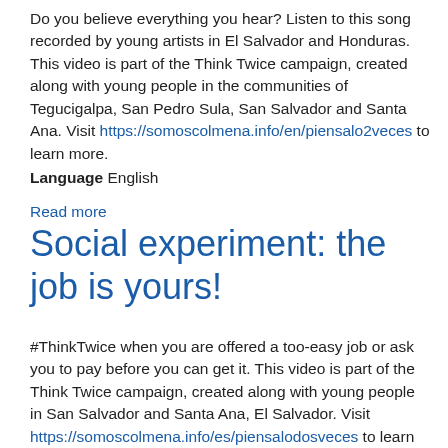Do you believe everything you hear? Listen to this song recorded by young artists in El Salvador and Honduras. This video is part of the Think Twice campaign, created along with young people in the communities of Tegucigalpa, San Pedro Sula, San Salvador and Santa Ana. Visit https://somoscolmena.info/en/piensalo2veces to learn more. Language English
Read more
Social experiment: the job is yours!
#ThinkTwice when you are offered a too-easy job or ask you to pay before you can get it. This video is part of the Think Twice campaign, created along with young people in San Salvador and Santa Ana, El Salvador. Visit https://somoscolmena.info/es/piensalodosveces to learn more. Language English
Read more